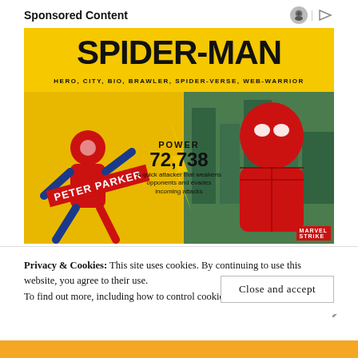Sponsored Content
[Figure (illustration): Spider-Man Marvel Strike Force sponsored advertisement. Yellow background with large bold text 'SPIDER-MAN', subtitle 'HERO, CITY, BIO, BRAWLER, SPIDER-VERSE, WEB-WARRIOR'. Animated Spider-Man on left (Peter Parker label), realistic Spider-Man on right. Center text: POWER 72,738. Description: A quick attacker that weakens opponents and evades incoming attacks.]
Privacy & Cookies: This site uses cookies. By continuing to use this website, you agree to their use.
To find out more, including how to control cookies, see here: Cookie Policy
Close and accept